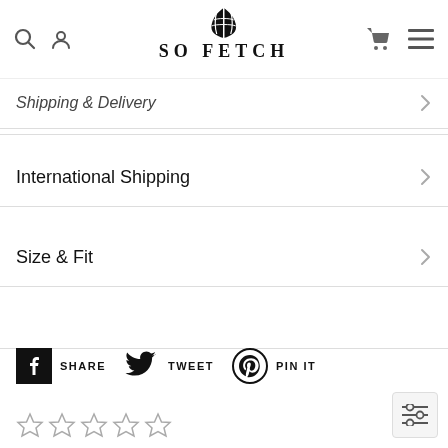SO FETCH
Shipping & Delivery
International Shipping
Size & Fit
SHARE  TWEET  PIN IT
☆☆☆☆☆